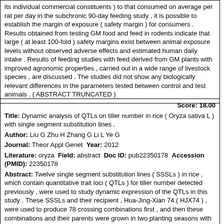its individual commercial constituents ) to that consumed on average per rat per day in the subchronic 90-day feeding study , it is possible to establish the margin of exposure ( safety margin ) for consumers . Results obtained from testing GM food and feed in rodents indicate that large ( at least 100-fold ) safety margins exist between animal exposure levels without observed adverse effects and estimated human daily intake . Results of feeding studies with feed derived from GM plants with improved agronomic properties , carried out in a wide range of livestock species , are discussed . The studies did not show any biologically relevant differences in the parameters tested between control and test animals . ( ABSTRACT TRUNCATED )
Score: 18.00
Title: Dynamic analysis of QTLs on tiller number in rice ( Oryza sativa L ) with single segment substitution lines .
Author: Liu G Zhu H Zhang G Li L Ye G
Journal: Theor Appl Genet Year: 2012
Literature: oryza Field: abstract Doc ID: pub22350178 Accession (PMID): 22350178
Abstract: Twelve single segment substitution lines ( SSSLs ) in rice , which contain quantitative trait loci ( QTLs ) for tiller number detected previously , were used to study dynamic expression of the QTLs in this study . These SSSLs and their recipient , Hua-Jing-Xian 74 ( HJX74 ) , were used to produce 78 crossing combinations first , and then these combinations and their parents were grown in two planting seasons with three cropping densities . Tiller number was measured at seven developmental stages . QTL effects including main effects ( additive , dominance and epistasis ) , QTL x season and QTL x density interaction effects were analyzed at each measured stage . The additive , dominant